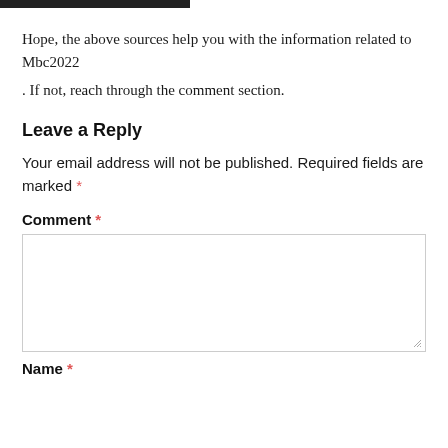Hope, the above sources help you with the information related to Mbc2022
. If not, reach through the comment section.
Leave a Reply
Your email address will not be published. Required fields are marked *
Comment *
Name *